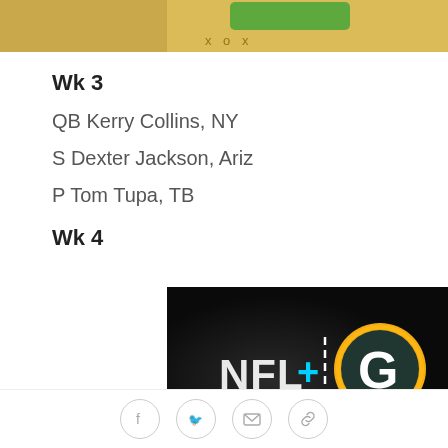[Figure (screenshot): Partial top banner/ad with green button and 'x o x' text on gold background]
Wk 3
QB Kerry Collins, NY
S Dexter Jackson, Ariz
P Tom Tupa, TB
Wk 4
[Figure (screenshot): NFL+ and Green Bay Packers logo image with text 'YOUR PACKERS.' on dark background]
Social share icons: Facebook, Twitter, Email, Link